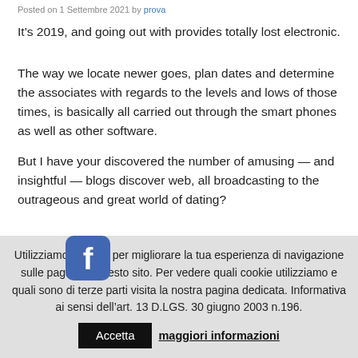Posted on 1 Settembre 2021 by prova
It’s 2019, and going out with provides totally lost electronic.
The way we locate newer goes, plan dates and determine the associates with regards to the levels and lows of those times, is basically all carried out through the smart phones as well as other software.
But I have your discovered the number of amusing — and insightful — blogs discover web, all broadcasting to the outrageous and great world of dating?
[Figure (logo): Facebook logo icon, blue rounded square with white 'f' letter]
Whether you cheerfully solitary, a serial dater, suffering
Utilizziamo i cookie per migliorare la tua esperienza di navigazione sulle pagine di questo sito. Per vedere quali cookie utilizziamo e quali sono di terze parti visita la nostra pagina dedicata. Informativa ai sensi dell’art. 13 D.LGS. 30 giugno 2003 n.196.